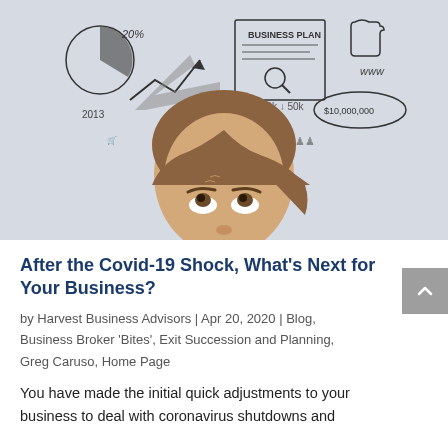[Figure (photo): Woman looking upward with business planning doodles and icons above her head — pie chart with 20%, arrow trend graph with 2013 label, BUSINESS PLAN document with magnifying glass, puzzle piece, www, $10,000,000 in oval, people figures, lock, shopping cart, sales label.]
After the Covid-19 Shock, What's Next for Your Business?
by Harvest Business Advisors | Apr 20, 2020 | Blog, Business Broker 'Bites', Exit Succession and Planning, Greg Caruso, Home Page
You have made the initial quick adjustments to your business to deal with coronavirus shutdowns and